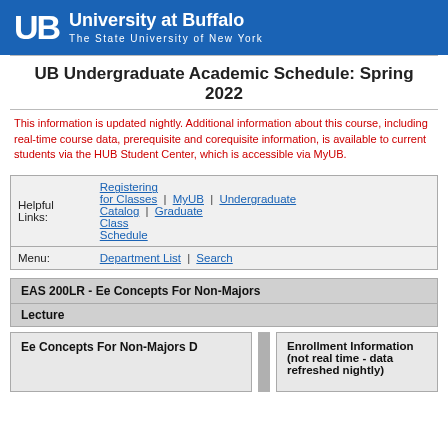[Figure (logo): University at Buffalo logo — blue banner with UB shield letters and text 'University at Buffalo, The State University of New York']
UB Undergraduate Academic Schedule: Spring 2022
This information is updated nightly. Additional information about this course, including real-time course data, prerequisite and corequisite information, is available to current students via the HUB Student Center, which is accessible via MyUB.
| Helpful Links: | Registering for Classes | | | MyUB | | | Undergraduate Catalog | | | Graduate Class Schedule |
| Menu: | Department List | | | Search |
EAS 200LR - Ee Concepts For Non-Majors
Lecture
Ee Concepts For Non-Majors D
Enrollment Information (not real time - data refreshed nightly)